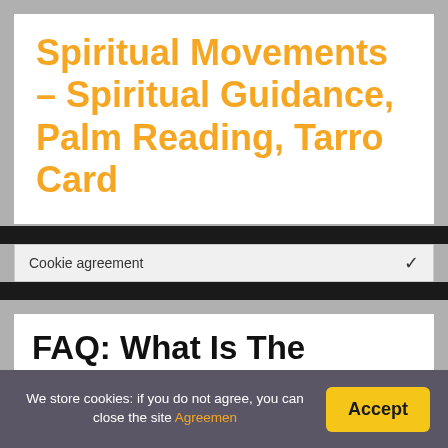Spiritual Movements – Spiritual Guidance, Palm Reading, Tarro Card
Cookie agreement
FAQ: What Is The Biblical Meaning Of Number 5215?
We store cookies: if you do not agree, you can close the site Agreemen